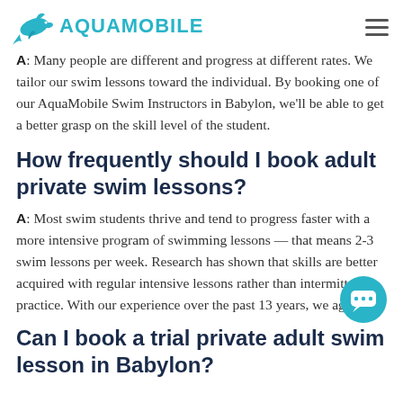AQUAMOBILE
A: Many people are different and progress at different rates. We tailor our swim lessons toward the individual. By booking one of our AquaMobile Swim Instructors in Babylon, we'll be able to get a better grasp on the skill level of the student.
How frequently should I book adult private swim lessons?
A: Most swim students thrive and tend to progress faster with a more intensive program of swimming lessons — that means 2-3 swim lessons per week. Research has shown that skills are better acquired with regular intensive lessons rather than intermittent practice. With our experience over the past 13 years, we agree!
Can I book a trial private adult swim lesson in Babylon?